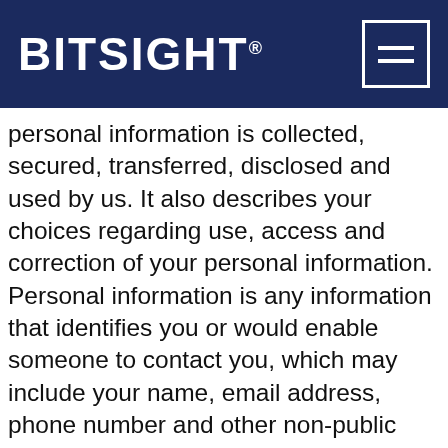BITSIGHT
personal information is collected, secured, transferred, disclosed and used by us. It also describes your choices regarding use, access and correction of your personal information. Personal information is any information that identifies you or would enable someone to contact you, which may include your name, email address, phone number and other non-public information that is associated with such information. It does not include aggregate information, anonymous information or any other non-personally identifiable information. Unless expressly set forth herein or required by law, this Privacy Policy also does not apply to any unsolicited information you provide to us through the Sites or the Services or